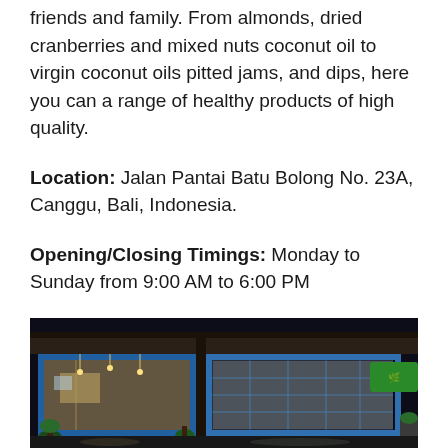friends and family. From almonds, dried cranberries and mixed nuts coconut oil to virgin coconut oils pitted jams, and dips, here you can a range of healthy products of high quality.
Location: Jalan Pantai Batu Bolong No. 23A, Canggu, Bali, Indonesia.
Opening/Closing Timings: Monday to Sunday from 9:00 AM to 6:00 PM
[Figure (photo): Exterior photo of a store at night with blue-framed glass garage doors, interior lights illuminating product displays, and a green sign visible on the right side. Plants are placed at the entrance.]